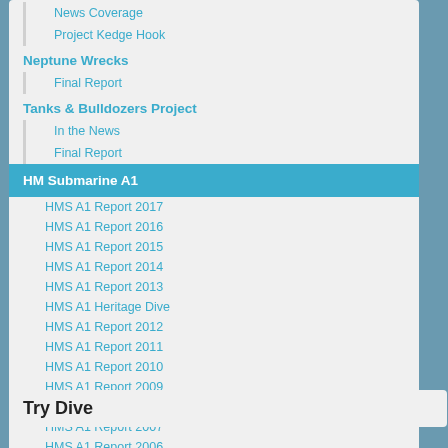News Coverage
Project Kedge Hook
Neptune Wrecks
Final Report
Tanks & Bulldozers Project
In the News
Final Report
HM Submarine A1
HMS A1 Report 2017
HMS A1 Report 2016
HMS A1 Report 2015
HMS A1 Report 2014
HMS A1 Report 2013
HMS A1 Heritage Dive
HMS A1 Report 2012
HMS A1 Report 2011
HMS A1 Report 2010
HMS A1 Report 2009
HMS A1 Report 2008
HMS A1 Report 2007
HMS A1 Report 2006
Try Dive